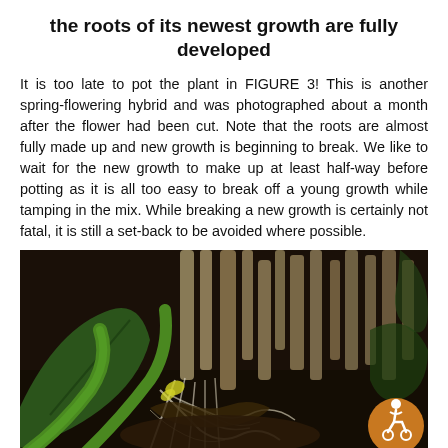the roots of its newest growth are fully developed
It is too late to pot the plant in FIGURE 3! This is another spring-flowering hybrid and was photographed about a month after the flower had been cut. Note that the roots are almost fully made up and new growth is beginning to break. We like to wait for the new growth to make up at least half-way before potting as it is all too easy to break off a young growth while tamping in the mix. While breaking a new growth is certainly not fatal, it is still a set-back to be avoided where possible.
[Figure (photo): Close-up photograph of orchid plant base showing thick green stems, aerial roots, new yellow-green growth emerging, and dried/dead root material, taken against a dark background. An orange accessibility icon badge is visible in the lower right corner.]